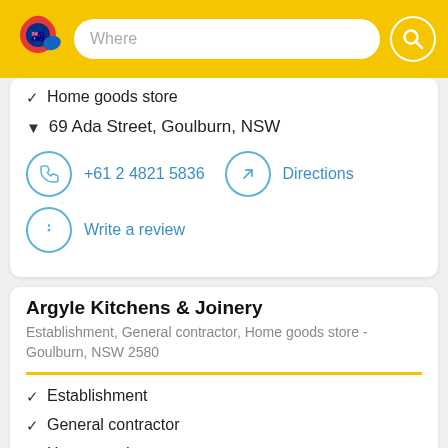[Figure (screenshot): Yellow top bar with Australian-flag location pin logo, a 'Where' search input field, and a search icon button]
✓ Home goods store
▼ 69 Ada Street, Goulburn, NSW
+61 2 4821 5836
Directions
Write a review
Argyle Kitchens & Joinery
Establishment, General contractor, Home goods store - Goulburn, NSW 2580
✓ Establishment
✓ General contractor
✓ Home goods store